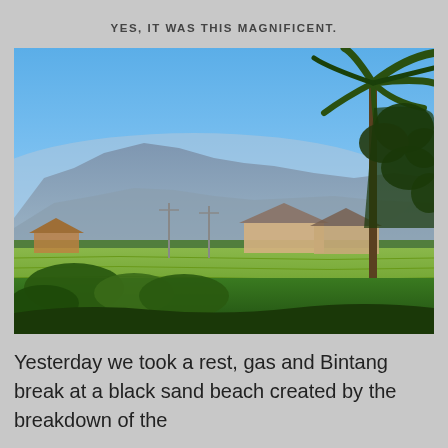YES, IT WAS THIS MAGNIFICENT.
[Figure (photo): Landscape photograph showing a tropical scene with green rice paddies and vegetation in the foreground, village buildings in the middle ground, and a range of blue-hued mountains under a clear blue sky in the background. A tall palm/papaya tree is prominent on the right side.]
Yesterday we took a rest, gas and Bintang break at a black sand beach created by the breakdown of the